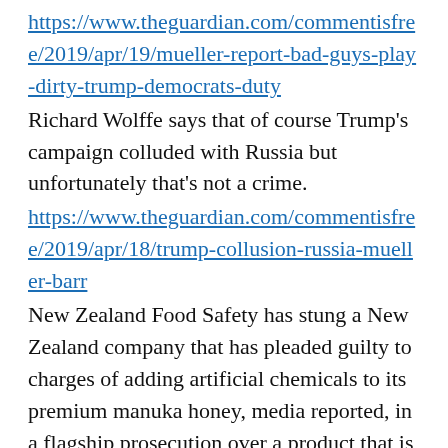https://www.theguardian.com/commentisfree/2019/apr/19/mueller-report-bad-guys-play-dirty-trump-democrats-duty
Richard Wolffe says that of course Trump's campaign colluded with Russia but unfortunately that's not a crime.
https://www.theguardian.com/commentisfree/2019/apr/18/trump-collusion-russia-mueller-barr
New Zealand Food Safety has stung a New Zealand company that has pleaded guilty to charges of adding artificial chemicals to its premium manuka honey, media reported, in a flagship prosecution over a product that is a high-value export for the country.
https://www.smh.com.au/business/companies/